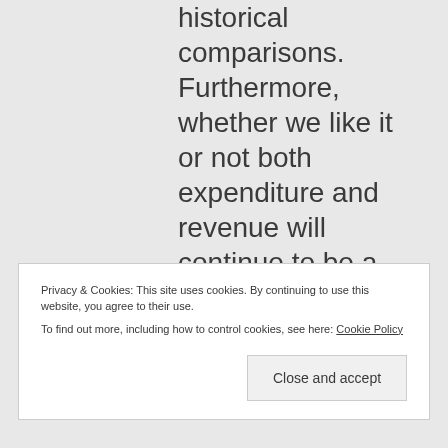historical comparisons. Furthermore, whether we like it or not both expenditure and revenue will continue to be a problem because of the population problem. Now yes we can address
Privacy & Cookies: This site uses cookies. By continuing to use this website, you agree to their use.
To find out more, including how to control cookies, see here: Cookie Policy